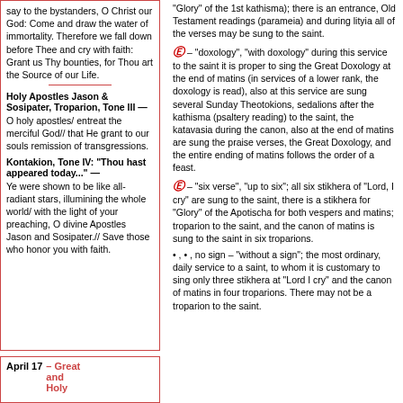say to the bystanders, O Christ our God: Come and draw the water of immortality. Therefore we fall down before Thee and cry with faith: Grant us Thy bounties, for Thou art the Source of our Life.
Holy Apostles Jason & Sosipater, Troparion, Tone III — O holy apostles/ entreat the merciful God// that He grant to our souls remission of transgressions.
Kontakion, Tone IV: "Thou hast appeared today..." — Ye were shown to be like all-radiant stars, illumining the whole world/ with the light of your preaching, O divine Apostles Jason and Sosipater.// Save those who honor you with faith.
"Glory" of the 1st kathisma); there is an entrance, Old Testament readings (parameia) and during lityia all of the verses may be sung to the saint.
– "doxology", "with doxology" during this service to the saint it is proper to sing the Great Doxology at the end of matins (in services of a lower rank, the doxology is read), also at this service are sung several Sunday Theotokions, sedalions after the kathisma (psaltery reading) to the saint, the katavasia during the canon, also at the end of matins are sung the praise verses, the Great Doxology, and the entire ending of matins follows the order of a feast.
– "six verse", "up to six"; all six stikhera of "Lord, I cry" are sung to the saint, there is a stikhera for "Glory" of the Apotischa for both vespers and matins; troparion to the saint, and the canon of matins is sung to the saint in six troparions.
• , • , no sign – "without a sign"; the most ordinary, daily service to a saint, to whom it is customary to sing only three stikhera at "Lord I cry" and the canon of matins in four troparions. There may not be a troparion to the saint.
April 17 – Great and Holy